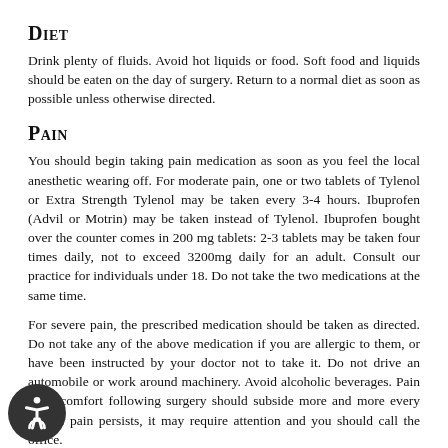Diet
Drink plenty of fluids. Avoid hot liquids or food. Soft food and liquids should be eaten on the day of surgery. Return to a normal diet as soon as possible unless otherwise directed.
Pain
You should begin taking pain medication as soon as you feel the local anesthetic wearing off. For moderate pain, one or two tablets of Tylenol or Extra Strength Tylenol may be taken every 3-4 hours. Ibuprofen (Advil or Motrin) may be taken instead of Tylenol. Ibuprofen bought over the counter comes in 200 mg tablets: 2-3 tablets may be taken four times daily, not to exceed 3200mg daily for an adult. Consult our practice for individuals under 18. Do not take the two medications at the same time.
For severe pain, the prescribed medication should be taken as directed. Do not take any of the above medication if you are allergic to them, or have been instructed by your doctor not to take it. Do not drive an automobile or work around machinery. Avoid alcoholic beverages. Pain or discomfort following surgery should subside more and more every day. If pain persists, it may require attention and you should call the office.